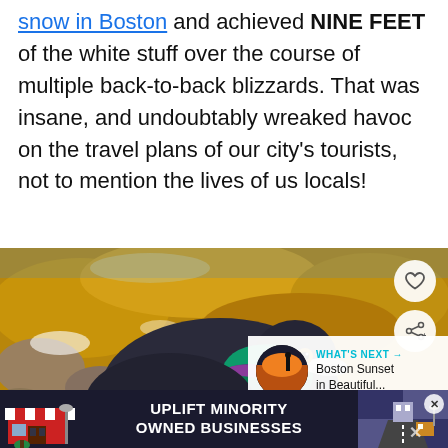snow in Boston and achieved NINE FEET of the white stuff over the course of multiple back-to-back blizzards. That was insane, and undoubtably wreaked havoc on the travel plans of our city's tourists, not to mention the lives of us locals!
[Figure (photo): Close-up photo of a pigeon with iridescent green and purple neck feathers, resting near yellow moss-covered rocks and water. A 'What's Next' overlay in the bottom right shows a thumbnail and text 'Boston Sunset in Beautiful...'. Heart and share buttons appear on the right side.]
[Figure (infographic): Dark blue advertisement bar at the bottom reading 'UPLIFT MINORITY OWNED BUSINESSES' with illustrated storefront on the left and road/building art on the right. A close button (X) appears top right of the ad section.]